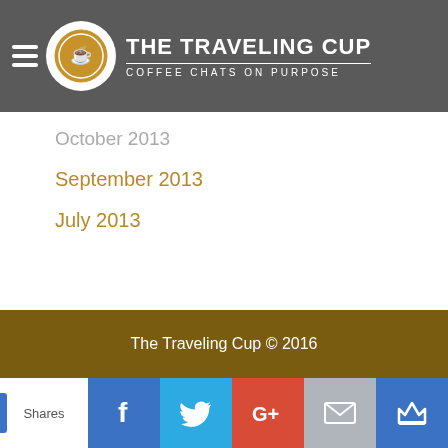THE TRAVELING CUP — COFFEE CHATS ON PURPOSE
March 2014
February 2014
October 2013
September 2013
July 2013
The Traveling Cup © 2016
Shares